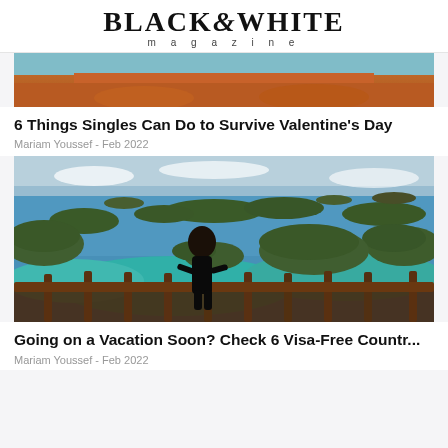BLACK&WHITE magazine
[Figure (photo): Partial photo of a person in an orange/red sweater, cropped at chest level against a teal/blue background]
6 Things Singles Can Do to Survive Valentine's Day
Mariam Youssef - Feb 2022
[Figure (photo): A woman in a black dress stands on a wooden railing/deck overlooking a stunning turquoise bay with lush green tropical islands and blue sky]
Going on a Vacation Soon? Check 6 Visa-Free Countr...
Mariam Youssef - Feb 2022